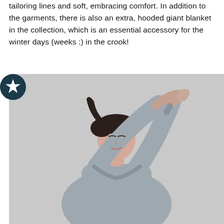tailoring lines and soft, embracing comfort. In addition to the garments, there is also an extra, hooded giant blanket in the collection, which is an essential accessory for the winter days (weeks :) in the crook!
[Figure (photo): A young woman with dark hair in a ponytail, wearing a grey long-sleeve sweatshirt, stretching her arms overhead against a light grey background. A dark teal circular badge with a white star is overlaid on the left side of the image.]